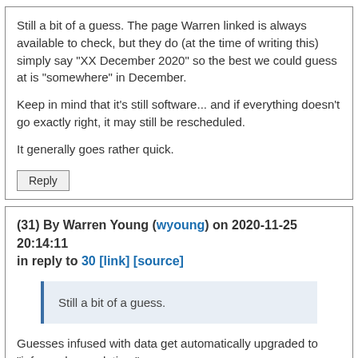Still a bit of a guess. The page Warren linked is always available to check, but they do (at the time of writing this) simply say "XX December 2020" so the best we could guess at is "somewhere" in December.
Keep in mind that it's still software... and if everything doesn't go exactly right, it may still be rescheduled.
It generally goes rather quick.
Reply
(31) By Warren Young (wyoung) on 2020-11-25 20:14:11 in reply to 30 [link] [source]
Still a bit of a guess.
Guesses infused with data get automatically upgraded to "informed speculation." ☺